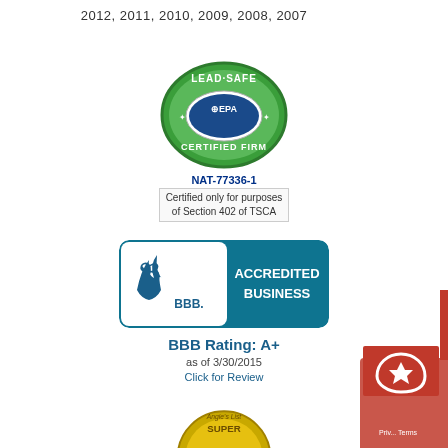2012, 2011, 2010, 2009, 2008, 2007
[Figure (logo): EPA Lead-Safe Certified Firm badge — green oval with blue EPA logo in center]
NAT-77336-1
Certified only for purposes of Section 402 of TSCA
[Figure (logo): BBB Accredited Business badge — teal rectangle with BBB flame logo and text ACCREDITED BUSINESS]
BBB Rating: A+
as of 3/30/2015
Click for Review
[Figure (logo): Angie's List Super Service Award badge — gold medallion partially visible at bottom]